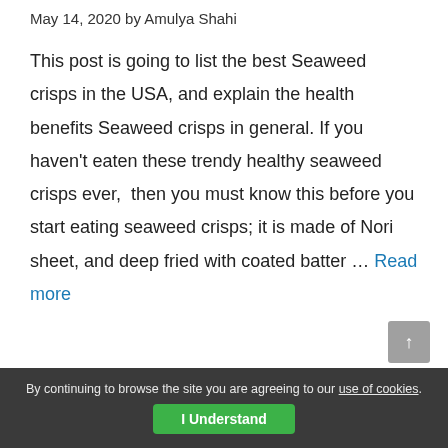May 14, 2020 by Amulya Shahi
This post is going to list the best Seaweed crisps in the USA, and explain the health benefits Seaweed crisps in general. If you haven't eaten these trendy healthy seaweed crisps ever,  then you must know this before you start eating seaweed crisps; it is made of Nori sheet, and deep fried with coated batter … Read more
By continuing to browse the site you are agreeing to our use of cookies. I Understand